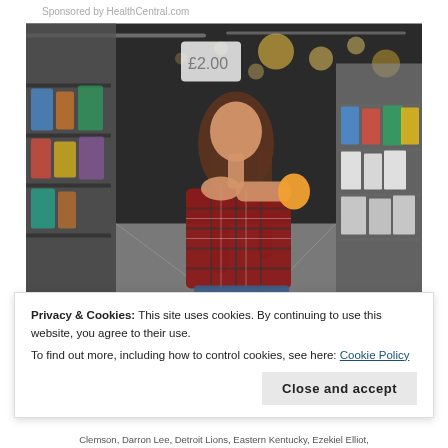Sponsored by HealthCentral.com
[Figure (photo): Woman in a red plaid shirt crouching in a supermarket aisle, reading the label on a product while shelves full of goods are visible on both sides of her.]
Privacy & Cookies: This site uses cookies. By continuing to use this website, you agree to their use.
To find out more, including how to control cookies, see here: Cookie Policy
Close and accept
Clemson, Darron Lee, Detroit Lions, Eastern Kentucky, Ezekiel Elliot,